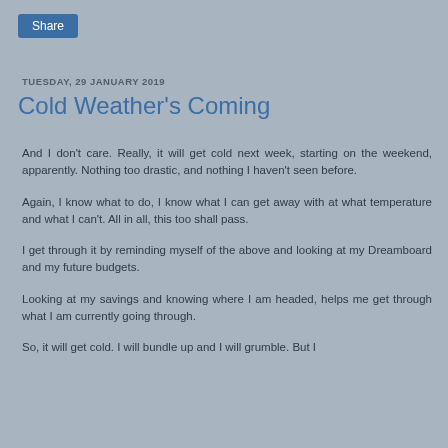[Figure (screenshot): Share button — blue rounded rectangle with white text 'Share']
TUESDAY, 29 JANUARY 2019
Cold Weather's Coming
And I don't care. Really, it will get cold next week, starting on the weekend, apparently. Nothing too drastic, and nothing I haven't seen before.
Again, I know what to do, I know what I can get away with at what temperature and what I can't. All in all, this too shall pass.
I get through it by reminding myself of the above and looking at my Dreamboard and my future budgets.
Looking at my savings and knowing where I am headed, helps me get through what I am currently going through.
So, it will get cold. I will bundle up and I will grumble. But I